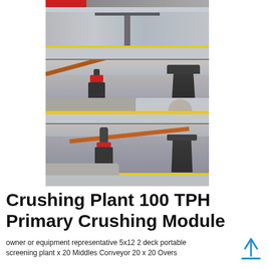[Figure (photo): Three stacked photos of an industrial crushing plant facility interior showing heavy machinery including cone crushers, conveyor belts, and processing equipment on a factory floor with blue and yellow safety markings.]
Crushing Plant 100 TPH Primary Crushing Module
owner or equipment representative 5x12 2 deck portable screening plant x 20 Middles Conveyor 20 x 20 Overs